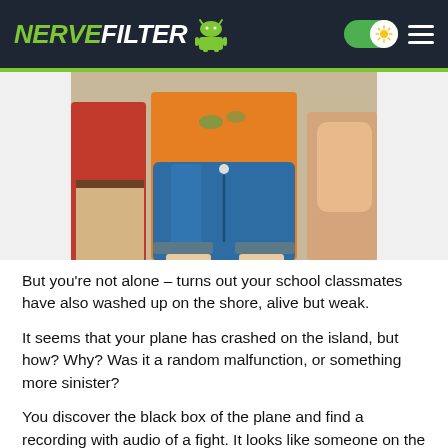NERVEFILTER
[Figure (illustration): Illustrated game artwork showing a female character in blue high-waisted shorts and orange top, flanked by two other characters, from a visual novel/mobile game.]
But you're not alone – turns out your school classmates have also washed up on the shore, alive but weak.
It seems that your plane has crashed on the island, but how? Why? Was it a random malfunction, or something more sinister?
You discover the black box of the plane and find a recording with audio of a fight. It looks like someone on the plane sabotaged your flight, leading to a near-fatal ending…but who